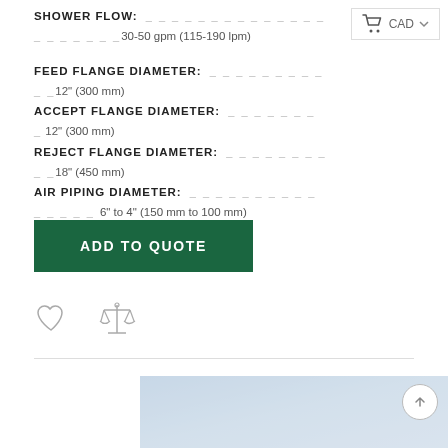SHOWER FLOW: _ _ _ _ _ _ _ _ _ _ _ _ _ _ _ _ _ _ _ _ _30-50 gpm (115-190 lpm)
FEED FLANGE DIAMETER: _ _ _ _ _ _ _ _ _ _ _12" (300 mm)
ACCEPT FLANGE DIAMETER: _ _ _ _ _ _ _ _ 12" (300 mm)
REJECT FLANGE DIAMETER: _ _ _ _ _ _ _ _ _ _18" (450 mm)
AIR PIPING DIAMETER: _ _ _ _ _ _ _ _ _ _ _ _ _ _ _ 6" to 4" (150 mm to 100 mm)
[Figure (screenshot): ADD TO QUOTE button (dark green)]
[Figure (illustration): Heart icon and balance/compare scale icon]
[Figure (photo): Partial product/background photo at bottom]